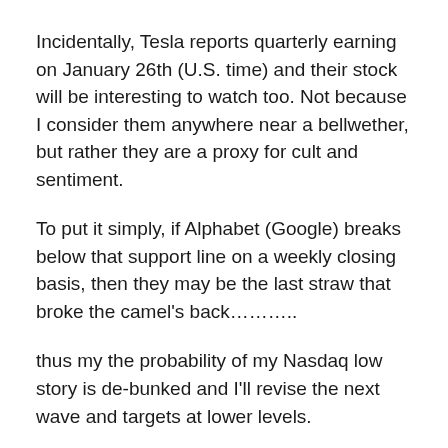Incidentally, Tesla reports quarterly earning on January 26th (U.S. time) and their stock will be interesting to watch too. Not because I consider them anywhere near a bellwether, but rather they are a proxy for cult and sentiment.
To put it simply, if Alphabet (Google) breaks below that support line on a weekly closing basis, then they may be the last straw that broke the camel's back………..
thus my the probability of my Nasdaq low story is de-bunked and I'll revise the next wave and targets at lower levels.
January 26, 2022
by Rob Zdravevski